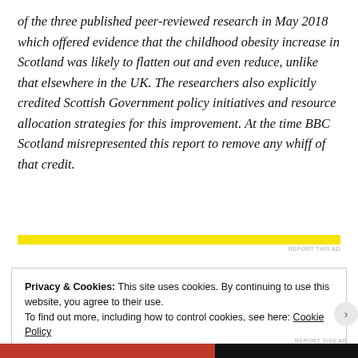of the three published peer-reviewed research in May 2018 which offered evidence that the childhood obesity increase in Scotland was likely to flatten out and even reduce, unlike that elsewhere in the UK. The researchers also explicitly credited Scottish Government policy initiatives and resource allocation strategies for this improvement. At the time BBC Scotland misrepresented this report to remove any whiff of that credit.
[Figure (other): Yellow horizontal advertisement banner with 'REPORT THIS AD' label on the right]
Privacy & Cookies: This site uses cookies. By continuing to use this website, you agree to their use.
To find out more, including how to control cookies, see here: Cookie Policy
Close and accept